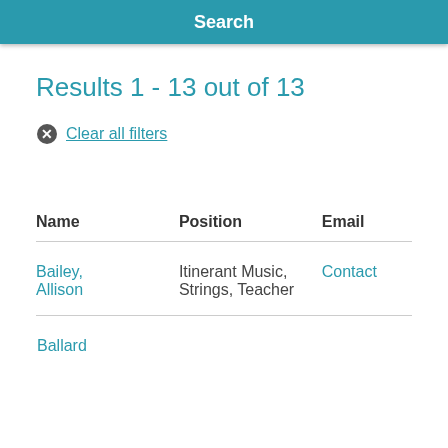Search
Results 1 - 13 out of 13
Clear all filters
| Name | Position | Email |
| --- | --- | --- |
| Bailey, Allison | Itinerant Music, Strings, Teacher | Contact |
| Ballard |  |  |